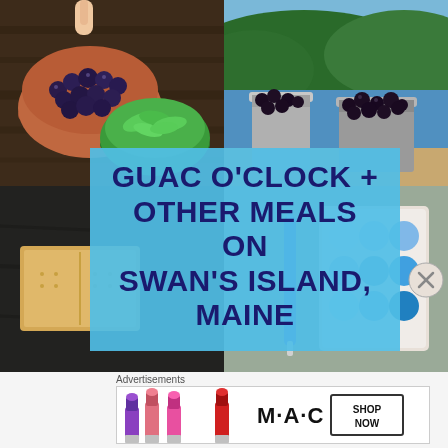[Figure (photo): Collage of four food/nature photos: top-left shows blueberries in a bowl on a dark wood table with a green salad bowl and a hand picking blueberries; top-right shows blackberries in metal buckets outdoors near a lake with green hills; bottom-left shows a cracker/graham cracker on a dark slate; bottom-right shows a watercolor paint palette with blues and a blue pen. Overlaid on the center is a light blue text box reading 'GUAC O'CLOCK + OTHER MEALS ON SWAN'S ISLAND, MAINE' in dark navy bold uppercase text.]
Advertisements
[Figure (photo): MAC cosmetics advertisement banner showing colorful lipsticks (purple, pink, red) on the left, the MAC logo in the center, and a 'SHOP NOW' button on the right.]